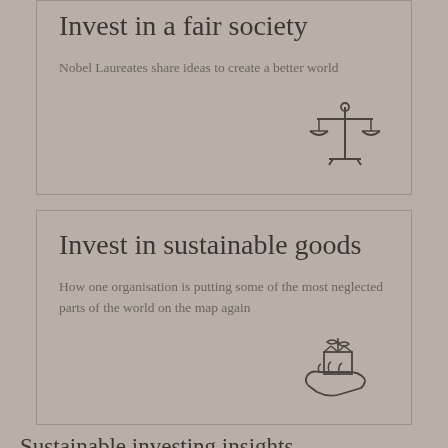Invest in a fair society
Nobel Laureates share ideas to create a better world
[Figure (illustration): Scales of justice icon — two balanced pans on a beam with a central post and base, drawn in thin outline style]
Invest in sustainable goods
How one organisation is putting some of the most neglected parts of the world on the map again
[Figure (illustration): A hand holding a box with a leaf/plant growing from it, drawn in thin outline style representing sustainable goods]
Sustainable investing insights